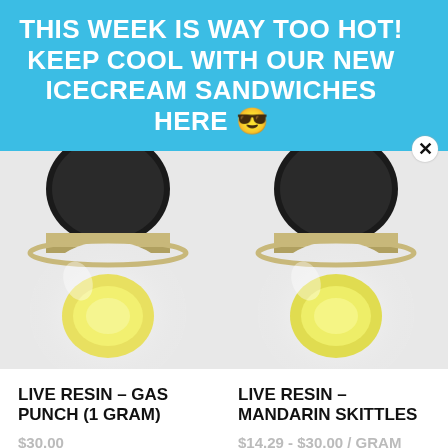THIS WEEK IS WAY TOO HOT! KEEP COOL WITH OUR NEW ICECREAM SANDWICHES HERE 😎
[Figure (photo): Top-down view of a Live Resin concentrate jar with black lid, showing a yellow waxy substance inside a clear glass container — left product (Gas Punch 1 Gram)]
[Figure (photo): Top-down view of a Live Resin concentrate jar with black lid, showing a yellow waxy substance inside a clear glass container — right product (Mandarin Skittles)]
LIVE RESIN – GAS PUNCH (1 GRAM)
$30.00
LIVE RESIN – MANDARIN SKITTLES
$14.29 - $30.00 / GRAM